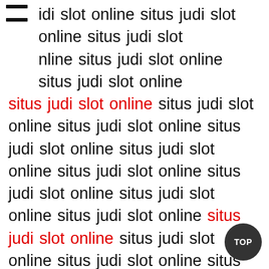idi slot online situs judi slot online situs judi slot nline situs judi slot online situs judi slot online
situs judi slot online situs judi slot online situs judi slot online situs judi slot online situs judi slot online situs judi slot online situs judi slot online situs judi slot online situs judi slot online situs judi slot online situs judi slot online situs judi slot online situs judi slot online situs judi slot online situs judi slot online situs judi slot online situs judi slot online situs judi slot online situs judi slot online situs judi slot online situs judi slot online situs judi slot online situs judi slot online situs judi slot online situs judi slot online situs judi slot online situs judi slot online situs judi slot online situs judi slot online situs judi slot online situs judi slot online situs judi slot online situs judi slot online situs judi slot online situs judi slot